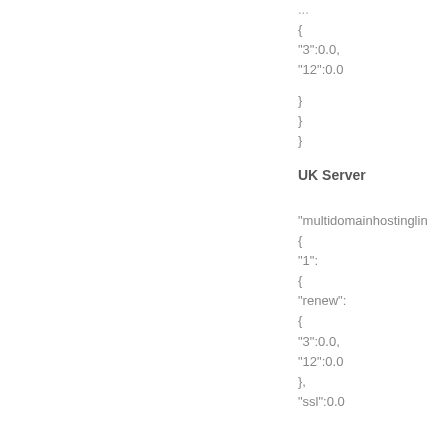{
"3":0.0,
"12":0.0
}
}
}
UK Server
"multidomainhostinglin
{
"1":
{
"renew":
{
"3":0.0,
"12":0.0
},
"ssl":0.0